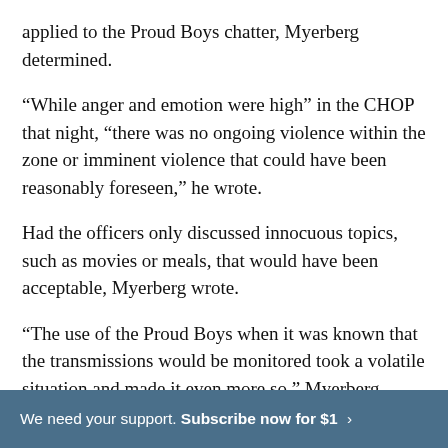applied to the Proud Boys chatter, Myerberg determined.
“While anger and emotion were high” in the CHOP that night, “there was no ongoing violence within the zone or imminent violence that could have been reasonably foreseen,” he wrote.
Had the officers only discussed innocuous topics, such as movies or meals, that would have been acceptable, Myerberg wrote.
“The use of the Proud Boys when it was known that the transmissions would be monitored took a volatile situation and made it even more so,” Myerberg wrote, arguing it was reasonably
We need your support. Subscribe now for $1 ›